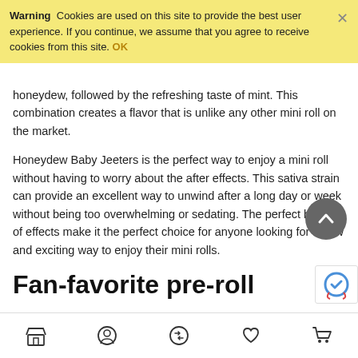Warning  Cookies are used on this site to provide the best user experience. If you continue, we assume that you agree to receive cookies from this site. OK
honeydew, followed by the refreshing taste of mint. This combination creates a flavor that is unlike any other mini roll on the market.
Honeydew Baby Jeeters is the perfect way to enjoy a mini roll without having to worry about the after effects. This sativa strain can provide an excellent way to unwind after a long day or week without being too overwhelming or sedating. The perfect balance of effects make it the perfect choice for anyone looking for a new and exciting way to enjoy their mini rolls.
Fan-favorite pre-roll
Despite the wide range of mini rolls available on the market, Honeydew Baby Jeeters is becoming increasingly popular among those who are looking for a new and exciting way to enjoy their mini rolls. This particular sativa strain can provide an excellent way to unwind after a long day or week without being too overwhelming or sedating. The perfect balance of effects make it the perfect ch anyone looking for a new and exciting way to enjoy their mini